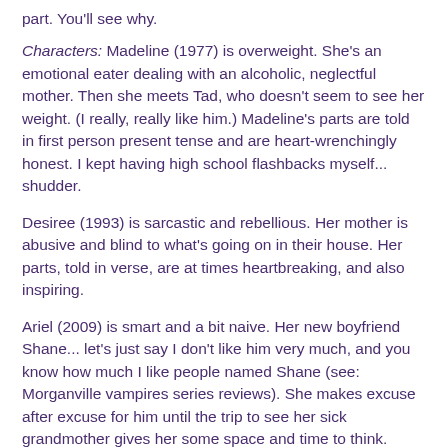part. You'll see why.
Characters: Madeline (1977) is overweight. She's an emotional eater dealing with an alcoholic, neglectful mother. Then she meets Tad, who doesn't seem to see her weight. (I really, really like him.) Madeline's parts are told in first person present tense and are heart-wrenchingly honest. I kept having high school flashbacks myself... shudder.
Desiree (1993) is sarcastic and rebellious. Her mother is abusive and blind to what's going on in their house. Her parts, told in verse, are at times heartbreaking, and also inspiring.
Ariel (2009) is smart and a bit naive. Her new boyfriend Shane... let's just say I don't like him very much, and you know how much I like people named Shane (see: Morganville vampires series reviews). She makes excuse after excuse for him until the trip to see her sick grandmother gives her some space and time to think.
The girls are all linked in a way, but I won't tell you what.